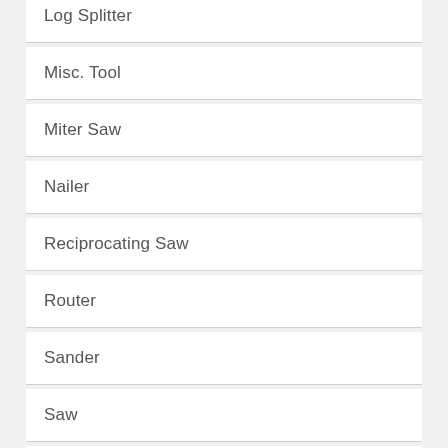Log Splitter
Misc. Tool
Miter Saw
Nailer
Reciprocating Saw
Router
Sander
Saw
Scaffolding
Shop Vac